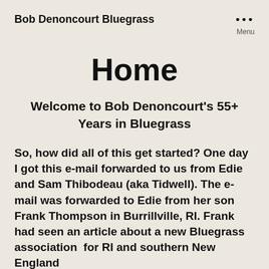Bob Denoncourt Bluegrass
Home
Welcome to Bob Denoncourt's 55+ Years in Bluegrass
So, how did all of this get started? One day I got this e-mail forwarded to us from Edie and Sam Thibodeau (aka Tidwell). The e-mail was forwarded to Edie from her son Frank Thompson in Burrillville, RI. Frank had seen an article about a new Bluegrass association for RI and southern New England